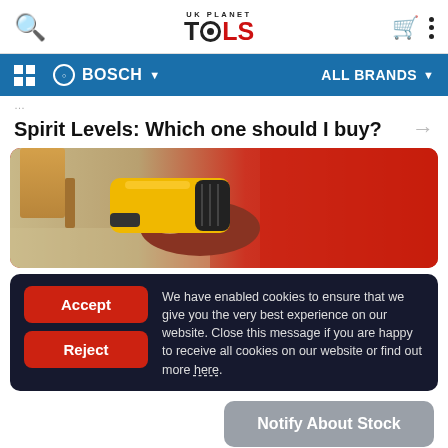UK Planet Tools — navigation header with search, logo, bag and menu icons
BOSCH — ALL BRANDS navigation bar
Spirit Levels: Which one should I buy?
[Figure (photo): Person using a yellow cordless nail gun tool against a red background]
We have enabled cookies to ensure that we give you the very best experience on our website. Close this message if you are happy to receive all cookies on our website or find out more here.
Notify About Stock